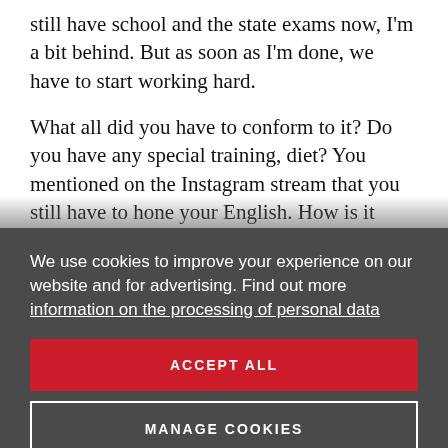still have school and the state exams now, I'm a bit behind. But as soon as I'm done, we have to start working hard.
What all did you have to conform to it? Do you have any special training, diet? You mentioned on the Instagram stream that you still have to hone your English. How is it going with your English?
I have a tutor. And also soon I'll be staying for a month in Mi... I'll speak English which should help...
We use cookies to improve your experience on our website and for advertising. Find out more information on the processing of personal data
ACCEPT ALL
MANAGE COOKIES